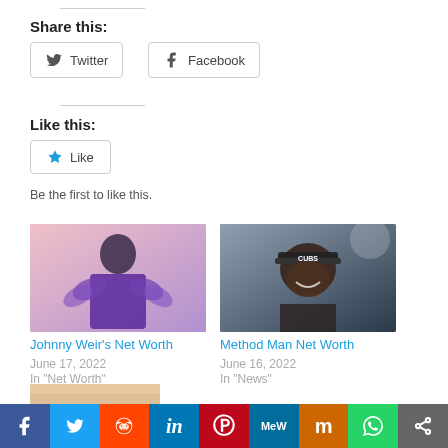Share this:
Twitter
Facebook
Like this:
Like
Be the first to like this.
[Figure (photo): Photo of Johnny Weir in purple feather outfit on pink background]
Johnny Weir’s Net Worth
June 17, 2022
In "Net Worth"
[Figure (photo): Photo of Method Man wearing a cap, smiling outdoors]
Method Man Net Worth
June 16, 2022
In "News"
f  Twitter  Reddit  in  Pinterest  MW  Mix  WhatsApp  Share